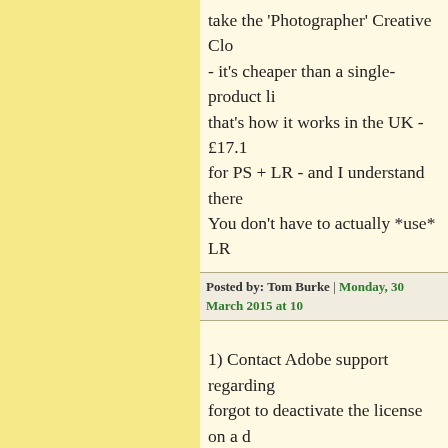take the 'Photographer' Creative Clo- it's cheaper than a single-product li- that's how it works in the UK - £17.1 for PS + LR - and I understand there You don't have to actually *use* LR
Posted by: Tom Burke | Monday, 30 March 2015 at 10
1) Contact Adobe support regarding forgot to deactivate the license on a They are often able to resolve licens
2) If you are unable to resolve the C Creative Cloud subscription to Light $30. The $30 price is for the comple etc.).
Posted by: Matthew Hunt | Monday, 30 March 2015 a
BTW, Photoshop CC + Lightroom C